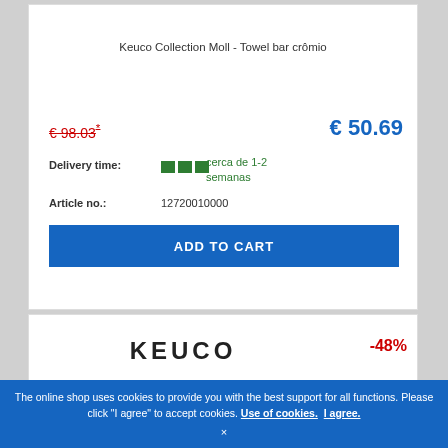Keuco Collection Moll - Towel bar crômio
€ 98.03*
€ 50.69
Delivery time: cerca de 1-2 semanas
Article no.: 12720010000
ADD TO CART
[Figure (logo): KEUCO brand logo in bold black letters with wide letter-spacing]
-48%
[Figure (photo): Partial product image of a towel bar at bottom of card]
The online shop uses cookies to provide you with the best support for all functions. Please click "I agree" to accept cookies. Use of cookies. I agree. ×